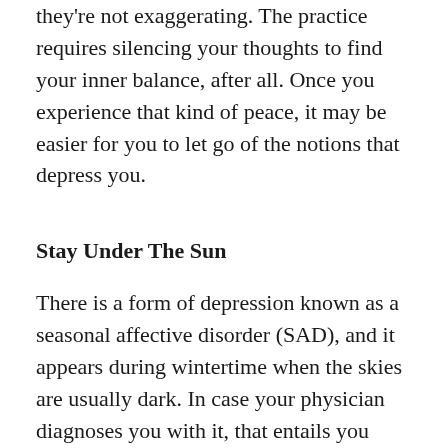they're not exaggerating. The practice requires silencing your thoughts to find your inner balance, after all. Once you experience that kind of peace, it may be easier for you to let go of the notions that depress you.
Stay Under The Sun
There is a form of depression known as a seasonal affective disorder (SAD), and it appears during wintertime when the skies are usually dark. In case your physician diagnoses you with it, that entails you need light quite literally to feel better.
The most straightforward treatment for that is lounging under the sun for a good 15 minutes. It's alright to extend the duration to a couple of hours